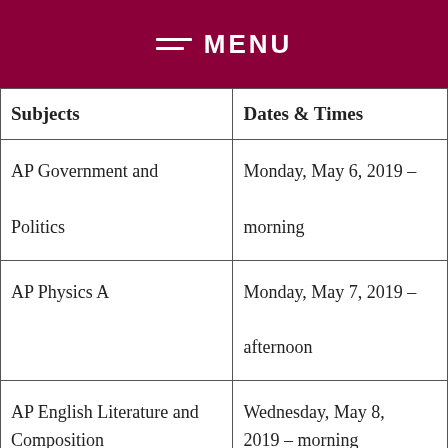MENU
| Subjects | Dates & Times |
| --- | --- |
| AP Government and Politics | Monday, May 6, 2019 – morning |
| AP Physics A | Monday, May 7, 2019 – afternoon |
| AP English Literature and Composition | Wednesday, May 8, 2019 – morning |
| AP Chemistry | Thursday, May 9, 2019– morning |